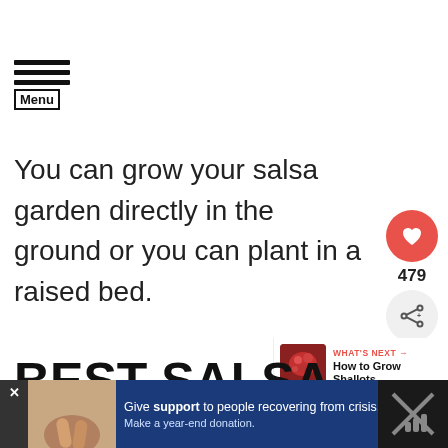Menu
You can grow your salsa garden directly in the ground or you can plant in a raised bed.
BEST SALSA GARD PLANTS
[Figure (infographic): WHAT'S NEXT arrow label with thumbnail image and text: How to Grow Shallots]
[Figure (infographic): Advertisement banner: Give support to people recovering from crisis. Make a year-end donation. With close button and photo of holding hands.]